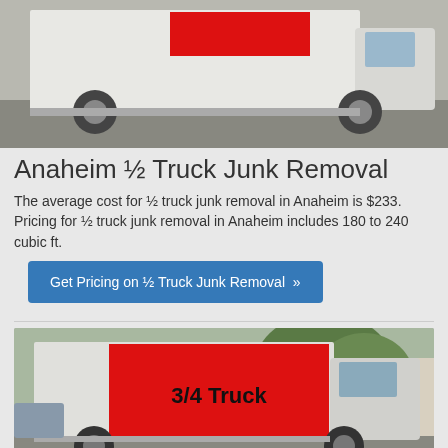[Figure (photo): White box truck with a small red rectangle on the side, photographed in a parking lot. Represents a half truck for junk removal.]
Anaheim ½ Truck Junk Removal
The average cost for ½ truck junk removal in Anaheim is $233. Pricing for ½ truck junk removal in Anaheim includes 180 to 240 cubic ft.
Get Pricing on ½ Truck Junk Removal »
[Figure (photo): White box truck with a large red rectangle filling most of the truck body labeled '3/4 Truck', photographed outdoors with trees in the background.]